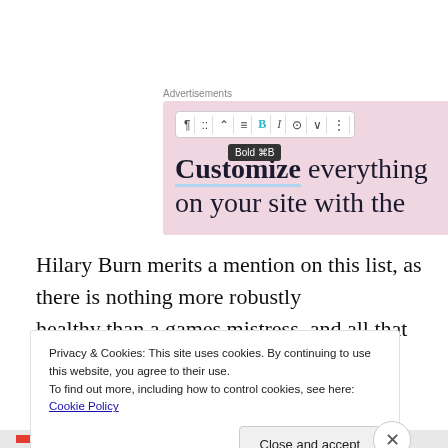Advertisements
[Figure (screenshot): Advertisement screenshot showing a WordPress block editor toolbar with Bold button highlighted and tooltip 'Bold ⌘B', over a pink background with text 'Customize everything on your site with the']
Hilary Burn merits a mention on this list, as there is nothing more robustly
healthy than a games mistress, and all that anatomical
Privacy & Cookies: This site uses cookies. By continuing to use this website, you agree to their use.
To find out more, including how to control cookies, see here: Cookie Policy
Close and accept